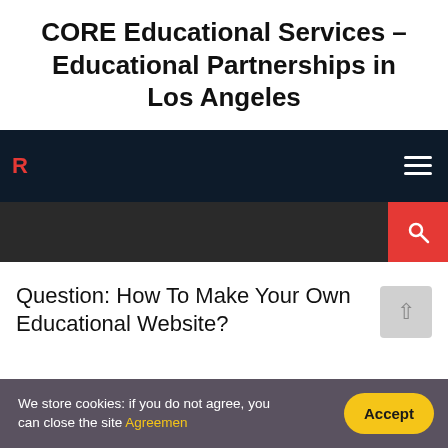CORE Educational Services – Educational Partnerships in Los Angeles
[Figure (screenshot): Dark navigation bar with hamburger menu icon on the right and a red letter R logo on the left]
[Figure (screenshot): Dark search bar with a red search button on the right side]
Question: How To Make Your Own Educational Website?
We store cookies: if you do not agree, you can close the site Agreemen
Accept